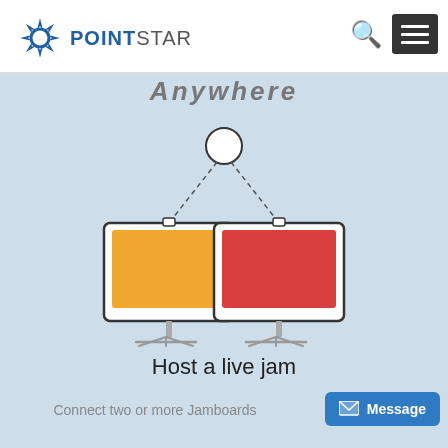POINTSTAR
Anywhere
[Figure (illustration): Two whiteboard display screens on stands connected by dashed lines to a circle above, suggesting a wireless connection between two Jamboard devices. Left board has an orange/yellow fill, right board has a red fill.]
Host a live jam
Connect two or more Jamboards